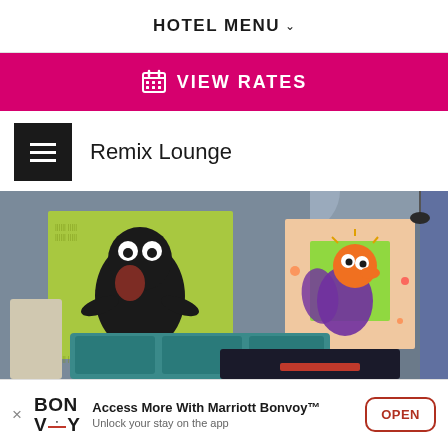HOTEL MENU
VIEW RATES
Remix Lounge
[Figure (photo): Interior of Remix Lounge showing colorful pop-art paintings of frog characters on a grey wall, teal sofa seating, dark table, and a glass-fronted snack/drink display case with shelving, plus a pendant light and window in background.]
Access More With Marriott Bonvoy™ Unlock your stay on the app